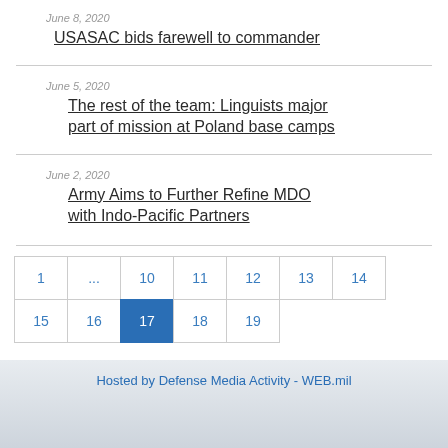June 8, 2020
USASAC bids farewell to commander
June 5, 2020
The rest of the team: Linguists major part of mission at Poland base camps
June 2, 2020
Army Aims to Further Refine MDO with Indo-Pacific Partners
1 ... 10 11 12 13 14 15 16 17 18 19
Hosted by Defense Media Activity - WEB.mil